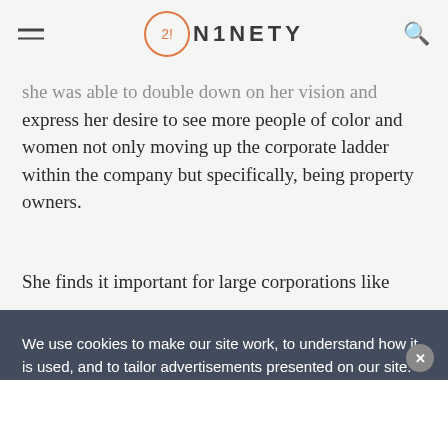21NETY
she was able to double down on her vision and express her desire to see more people of color and women not only moving up the corporate ladder within the company but specifically, being property owners.
She finds it important for large corporations like
We use cookies to make our site work, to understand how it is used, and to tailor advertisements presented on our site. By clicking "Accept", you agree to us doing so. You can read more by clicking on our privacy policy here.